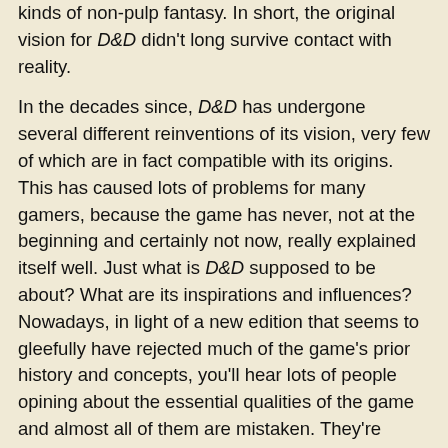kinds of non-pulp fantasy. In short, the original vision for D&D didn't long survive contact with reality.
In the decades since, D&D has undergone several different reinventions of its vision, very few of which are in fact compatible with its origins. This has caused lots of problems for many gamers, because the game has never, not at the beginning and certainly not now, really explained itself well. Just what is D&D supposed to be about? What are its inspirations and influences? Nowadays, in light of a new edition that seems to gleefully have rejected much of the game's prior history and concepts, you'll hear lots of people opining about the essential qualities of the game and almost all of them are mistaken. They're mistaken because they usually begin without any knowledge of the history of the game or of the culture from which it sprang. If I seem a little cranky about this point, it's because I think it's important to remember the origins of the D&D. It may well be true that what D&D is in the minds of many gamers is not what it was intended to be, but I don't think that makes a whit of difference. If anything, it only strengthens my contention that D&D has lost itself over the years.